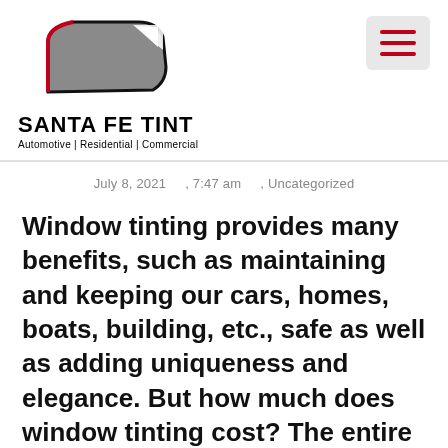[Figure (logo): Santa Fe Tint logo with car window graphic, bold text SANTA FE TINT, and tagline Automotive | Residential | Commercial]
July 8, 2021     , 7:47 am     , Uncategorized
Window tinting provides many benefits, such as maintaining and keeping our cars, homes, boats, building, etc., safe as well as adding uniqueness and elegance. But how much does window tinting cost? The entire cost of window tinting varies greatly based on the specific type of tint as well as the window